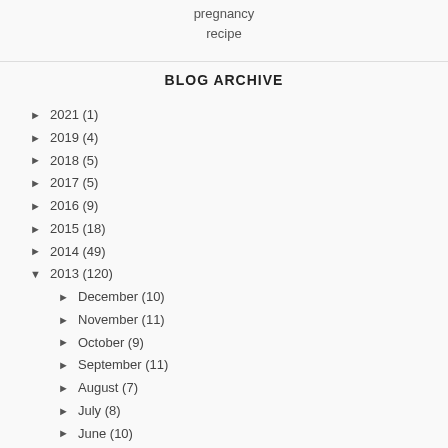pregnancy
recipe
BLOG ARCHIVE
► 2021 (1)
► 2019 (4)
► 2018 (5)
► 2017 (5)
► 2016 (9)
► 2015 (18)
► 2014 (49)
▼ 2013 (120)
► December (10)
► November (11)
► October (9)
► September (11)
► August (7)
► July (8)
► June (10)
► May (12)
▼ April (12)